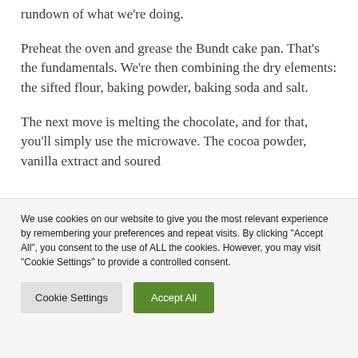rundown of what we're doing. Preheat the oven and grease the Bundt cake pan. That's the fundamentals. We're then combining the dry elements: the sifted flour, baking powder, baking soda and salt. The next move is melting the chocolate, and for that, you'll simply use the microwave. The cocoa powder, vanilla extract and soured
We use cookies on our website to give you the most relevant experience by remembering your preferences and repeat visits. By clicking "Accept All", you consent to the use of ALL the cookies. However, you may visit "Cookie Settings" to provide a controlled consent.